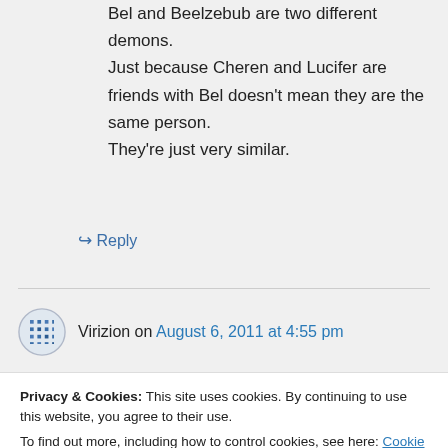Bel and Beelzebub are two different demons. Just because Cheren and Lucifer are friends with Bel doesn't mean they are the same person. They're just very similar.
↪ Reply
Virizion on August 6, 2011 at 4:55 pm
Privacy & Cookies: This site uses cookies. By continuing to use this website, you agree to their use. To find out more, including how to control cookies, see here: Cookie Policy
Close and accept
Thundhurrus on August 6, 2011 at 5:19